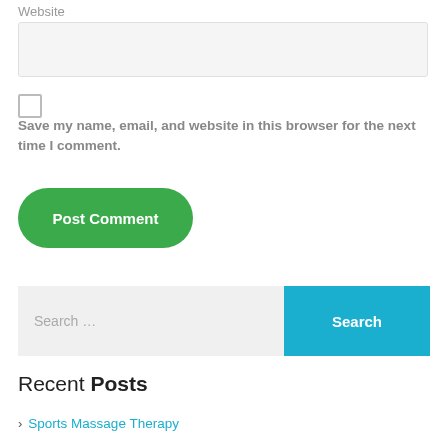Website
[Figure (other): Website input text field (empty, light gray background)]
Save my name, email, and website in this browser for the next time I comment.
[Figure (other): Green rounded Post Comment button]
[Figure (other): Search bar with gray input area showing 'Search ...' placeholder and a blue Search button]
Recent Posts
Sports Massage Therapy